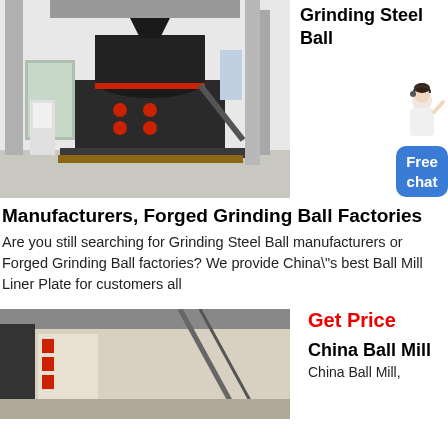[Figure (photo): Large industrial grinding mill machine (black/dark machinery with red accents) in a factory/warehouse setting with concrete floor and structural columns]
Grinding Steel Ball
[Figure (illustration): Customer service chat widget showing a woman with headset and a blue rounded button labeled 'Free chat']
Manufacturers, Forged Grinding Ball Factories
Are you still searching for Grinding Steel Ball manufacturers or Forged Grinding Ball factories? We provide China\"s best Ball Mill Liner Plate for customers all
Get Price
[Figure (photo): Bottom portion of another factory/industrial image showing building interior with signage]
China Ball Mill
China Ball Mill,